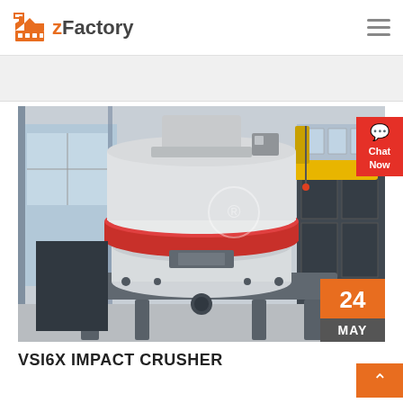zFactory
[Figure (photo): VSI6X Impact Crusher machine photographed in a factory/warehouse setting. Large industrial crusher with white body, red accent ring, mounted on a steel frame. Factory interior with structural steel, large windows, and industrial equipment visible in background.]
VSI6X IMPACT CRUSHER